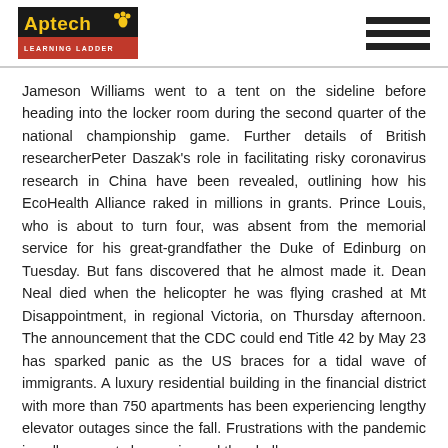[Figure (logo): Aptech Learning Ladder logo with paw print icon]
Jameson Williams went to a tent on the sideline before heading into the locker room during the second quarter of the national championship game. Further details of British researcherPeter Daszak's role in facilitating risky coronavirus research in China have been revealed, outlining how his EcoHealth Alliance raked in millions in grants. Prince Louis, who is about to turn four, was absent from the memorial service for his great-grandfather the Duke of Edinburg on Tuesday. But fans discovered that he almost made it. Dean Neal died when the helicopter he was flying crashed at Mt Disappointment, in regional Victoria, on Thursday afternoon. The announcement that the CDC could end Title 42 by May 23 has sparked panic as the US braces for a tidal wave of immigrants. A luxury residential building in the financial district with more than 750 apartments has been experiencing lengthy elevator outages since the fall. Frustrations with the pandemic in college sports have mirrored the challenges seen